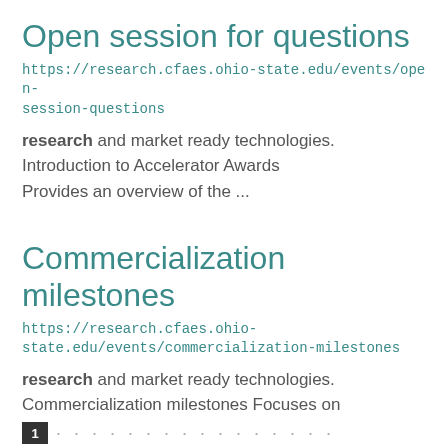Open session for questions
https://research.cfaes.ohio-state.edu/events/open-session-questions
research and market ready technologies. Introduction to Accelerator Awards Provides an overview of the ...
Commercialization milestones
https://research.cfaes.ohio-state.edu/events/commercialization-milestones
research and market ready technologies. Commercialization milestones Focuses on constructing ...
1